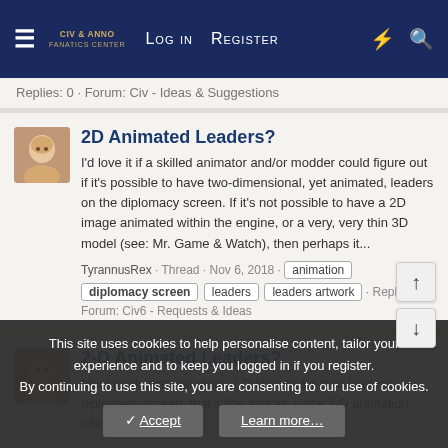Log in  Register
Replies: 0 · Forum: Civ - Ideas & Suggestions
2D Animated Leaders?
I'd love it if a skilled animator and/or modder could figure out if it's possible to have two-dimensional, yet animated, leaders on the diplomacy screen. If it's not possible to have a 2D image animated within the engine, or a very, very thin 3D model (see: Mr. Game & Watch), then perhaps it...
TyrannusRex · Thread · Nov 6, 2018 · animation | diplomacy screen | leaders | leaders artwork · Replies: 0 · Forum: Civ6 - Requests & Ideas
2-D Animated Leaders?
Most mods just use static 2-D images for their leader's diplomacy screen; that's fine and all, since 3-D animation often takes a village
This site uses cookies to help personalise content, tailor your experience and to keep you logged in if you register.
By continuing to use this site, you are consenting to our use of cookies.